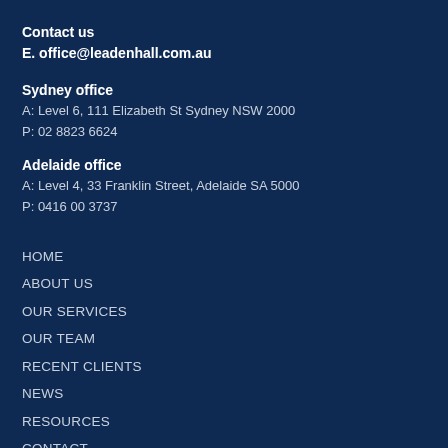Contact us
E. office@leadenhall.com.au
Sydney office
A: Level 6, 111 Elizabeth St Sydney NSW 2000
P: 02 8823 6624
Adelaide office
A: Level 4, 33 Franklin Street, Adelaide SA 5000
P: 0416 00 3737
HOME
ABOUT US
OUR SERVICES
OUR TEAM
RECENT CLIENTS
NEWS
RESOURCES
CONTACT